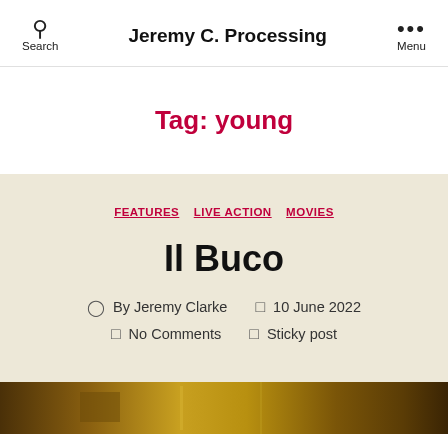Jeremy C. Processing
Tag: young
FEATURES  LIVE ACTION  MOVIES
Il Buco
By Jeremy Clarke  10 June 2022  No Comments  Sticky post
[Figure (photo): Dark golden/brown textured image strip at the bottom of the page, likely a movie still from Il Buco]